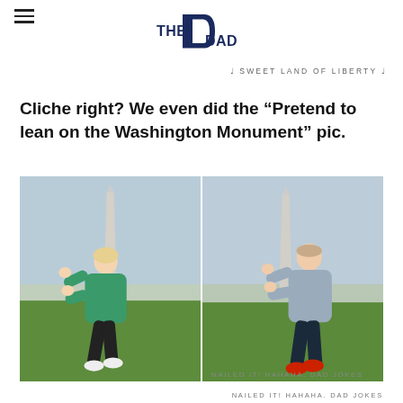THE DAD
♩ SWEET LAND OF LIBERTY ♩
Cliche right? We even did the “Pretend to lean on the Washington Monument” pic.
[Figure (photo): Two side-by-side photos of a girl (left, green hoodie, black leggings) and a boy (right, gray hoodie, dark pants, red shoes) pretending to push/lean on the Washington Monument, which is visible in the background of each photo. Both are on the National Mall grass.]
NAILED IT! HAHAHA. DAD JOKES